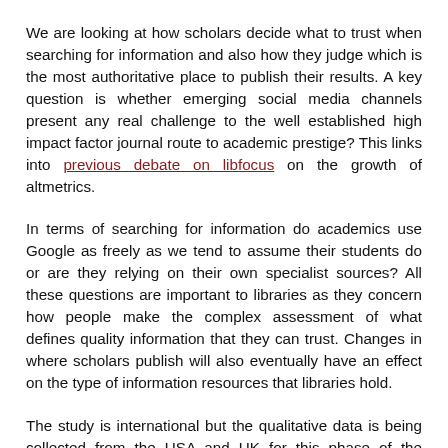We are looking at how scholars decide what to trust when searching for information and also how they judge which is the most authoritative place to publish their results. A key question is whether emerging social media channels present any real challenge to the well established high impact factor journal route to academic prestige? This links into previous debate on libfocus on the growth of altmetrics.
In terms of searching for information do academics use Google as freely as we tend to assume their students do or are they relying on their own specialist sources? All these questions are important to libraries as they concern how people make the complex assessment of what defines quality information that they can trust. Changes in where scholars publish will also eventually have an effect on the type of information resources that libraries hold.
The study is international but the qualitative data is being collected from the USA and UK for this phase of the research and I am interviewing academics from Northern Ireland, Scotland and Wales. I would be interested to hear from